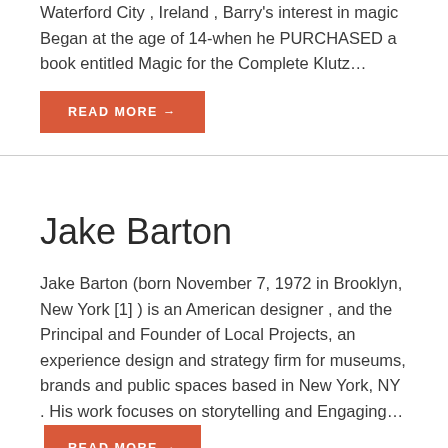Waterford City , Ireland , Barry's interest in magic Began at the age of 14-when he PURCHASED a book entitled Magic for the Complete Klutz…
READ MORE →
Jake Barton
Jake Barton (born November 7, 1972 in Brooklyn, New York [1] ) is an American designer , and the Principal and Founder of Local Projects, an experience design and strategy firm for museums, brands and public spaces based in New York, NY . His work focuses on storytelling and Engaging…
READ MORE →